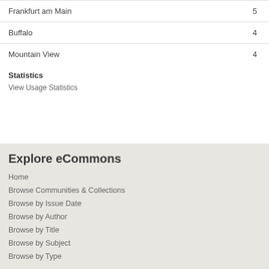| Frankfurt am Main | 5 |
| Buffalo | 4 |
| Mountain View | 4 |
Statistics
View Usage Statistics
Explore eCommons
Home
Browse Communities & Collections
Browse by Issue Date
Browse by Author
Browse by Title
Browse by Subject
Browse by Type